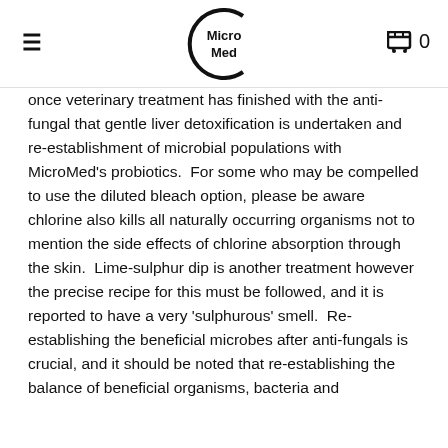MicroMed
once veterinary treatment has finished with the anti-fungal that gentle liver detoxification is undertaken and re-establishment of microbial populations with MicroMed's probiotics.  For some who may be compelled to use the diluted bleach option, please be aware chlorine also kills all naturally occurring organisms not to mention the side effects of chlorine absorption through the skin.  Lime-sulphur dip is another treatment however the precise recipe for this must be followed, and it is reported to have a very 'sulphurous' smell.  Re-establishing the beneficial microbes after anti-fungals is crucial, and it should be noted that re-establishing the balance of beneficial organisms, bacteria and